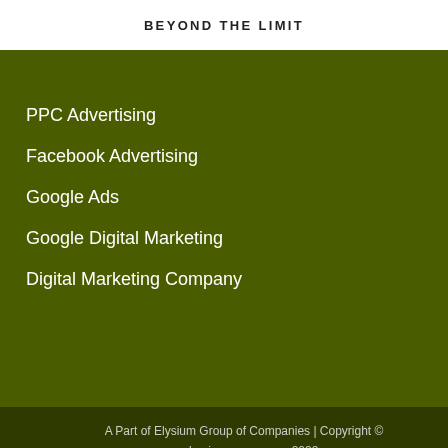BEYOND THE LIMIT
PPC Advertising
Facebook Advertising
Google Ads
Google Digital Marketing
Digital Marketing Company
A Part of Elysium Group of Companies | Copyright © seobusiness.company 2022 Designed By EiBS | Terms and Conditions | Privacy Policy